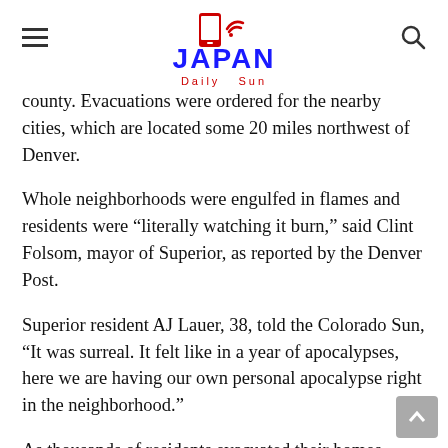Japan Daily Sun
county. Evacuations were ordered for the nearby cities, which are located some 20 miles northwest of Denver.
Whole neighborhoods were engulfed in flames and residents were “literally watching it burn,” said Clint Folsom, mayor of Superior, as reported by the Denver Post.
Superior resident AJ Lauer, 38, told the Colorado Sun, “It was surreal. It felt like in a year of apocalypses, here we are having our own personal apocalypse right in the neighborhood.”
As thousands of residents evacuated their homes, COVID-positive individuals were told to move to Mt. Calvary Lutheran Church, CBS Denver reported.
Meanwhile, Gov. Jared Polis has declared a state of emergency, which will enable the state to access emergency disaster funds.